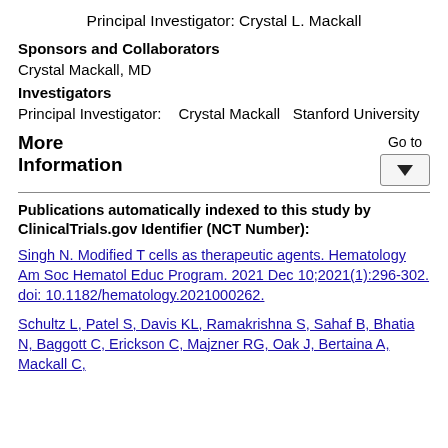Principal Investigator: Crystal L. Mackall
Sponsors and Collaborators
Crystal Mackall, MD
Investigators
Principal Investigator:    Crystal Mackall    Stanford University
More Information
Go to
Publications automatically indexed to this study by ClinicalTrials.gov Identifier (NCT Number):
Singh N. Modified T cells as therapeutic agents. Hematology Am Soc Hematol Educ Program. 2021 Dec 10;2021(1):296-302. doi: 10.1182/hematology.2021000262.
Schultz L, Patel S, Davis KL, Ramakrishna S, Sahaf B, Bhatia N, Baggott C, Erickson C, Majzner RG, Oak J, Bertaina A, Mackall C,